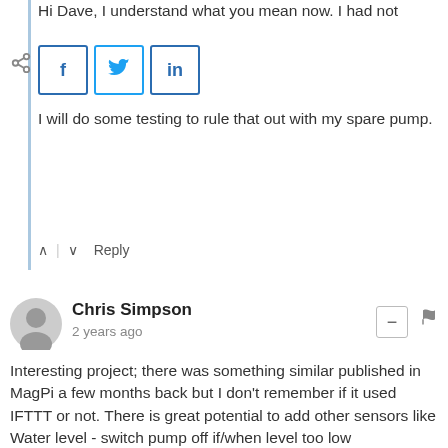Hi Dave, I understand what you mean now. I had not
[Figure (screenshot): Social share buttons: Facebook (f), Twitter (bird icon), LinkedIn (in)]
I will do some testing to rule that out with my spare pump.
^ | v Reply
Chris Simpson
2 years ago
Interesting project; there was something similar published in MagPi a few months back but I don't remember if it used IFTTT or not. There is great potential to add other sensors like
Water level - switch pump off if/when level too low
Water Flow (when pump switched on) to detect pump problems
Soil (and water) temperature
Water conductivity --> indicate nutrient levels and maybe bleed in more nutrients if required
etc ...
especially if these (and other) values are captured and transmitted.